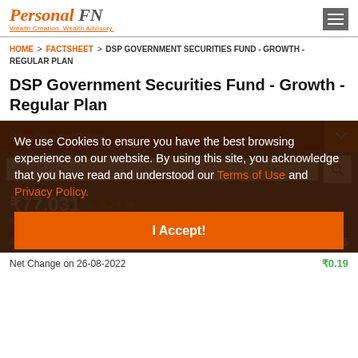Personal FN - Wealth Creation. Wealth Advisory.
HOME > FACTSHEET > DSP GOVERNMENT SECURITIES FUND - GROWTH - REGULAR PLAN
DSP Government Securities Fund - Growth - Regular Plan
We use Cookies to ensure you have the best browsing experience on our website. By using this site, you acknowledge that you have read and understood our Terms of Use and Privacy Policy.
I Accept!
₹77.031 ▲ 0.24 %
Nav as on 26-08-2022
Previous Nav ₹ 76.845
Net Change on 26-08-2022 ₹0.19